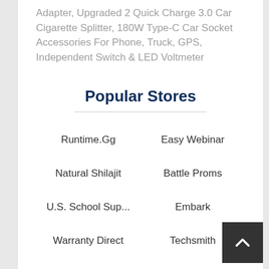Adapter, Upgraded 2 Quick Charge 3.0 Car Cigarette Splitter, 180W Type-C Car Socket Accessories For Phone, Truck, GPS, Independent Switch & LED Voltmeter
Popular Stores
Runtime.Gg
Easy Webinar
Natural Shilajit
Battle Proms
U.S. School Sup...
Embark
Warranty Direct
Techsmith
Toro Dealer
Standard